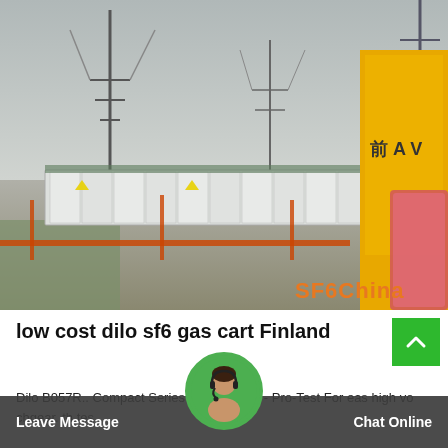[Figure (photo): Outdoor electrical substation with white equipment cubicles, power line towers, safety fencing with orange barricades and warning signs, and a yellow structure on the right. Watermark 'SF6China' in orange bottom-right.]
low cost dilo sf6 gas cart Finland
Dilo B057R.. Compact Series SF6 Service Cart - Pro-Test For easy high voltage switchgear. th tes